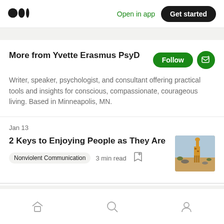Medium logo | Open in app | Get started
More from Yvette Erasmus PsyD
Writer, speaker, psychologist, and consultant offering practical tools and insights for conscious, compassionate, courageous living. Based in Minneapolis, MN.
Jan 13
2 Keys to Enjoying People as They Are
Nonviolent Communication   3 min read
Home | Search | Profile